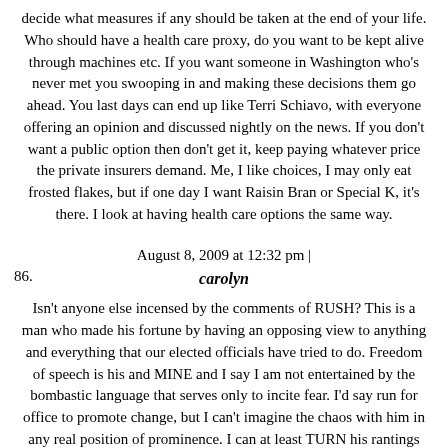decide what measures if any should be taken at the end of your life. Who should have a health care proxy, do you want to be kept alive through machines etc. If you want someone in Washington who's never met you swooping in and making these decisions them go ahead. You last days can end up like Terri Schiavo, with everyone offering an opinion and discussed nightly on the news. If you don't want a public option then don't get it, keep paying whatever price the private insurers demand. Me, I like choices, I may only eat frosted flakes, but if one day I want Raisin Bran or Special K, it's there. I look at having health care options the same way.
August 8, 2009 at 12:32 pm |
86.
carolyn
Isn't anyone else incensed by the comments of RUSH? This is a man who made his fortune by having an opposing view to anything and everything that our elected officials have tried to do. Freedom of speech is his and MINE and I say I am not entertained by the bombastic language that serves only to incite fear. I'd say run for office to promote change, but I can't imagine the chaos with him in any real position of prominence. I can at least TURN his rantings off. What I can't turn off is those who quote his file language and